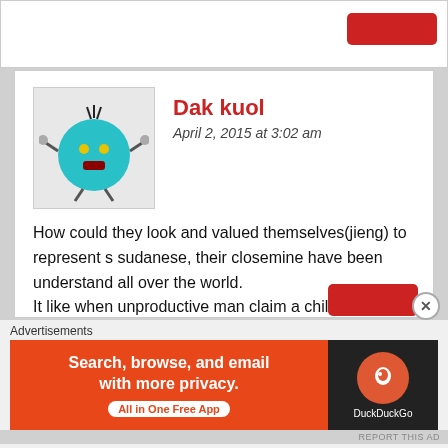[Figure (screenshot): Top partial comment section with a red button in top right]
Dak kuol
April 2, 2015 at 3:02 am
How could they look and valued themselves(jieng) to represent s sudanese, their closemine have been understand all over the world.
It like when unproductive man claim a child who's not his own blood, shameless people.
Jang cie ran!
★ Like
Advertisements
[Figure (screenshot): DuckDuckGo advertisement banner: Search, browse, and email with more privacy. All in One Free App]